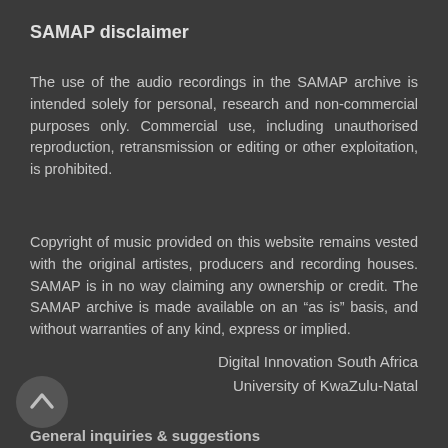SAMAP disclaimer
The use of the audio recordings in the SAMAP archive is intended solely for personal, research and non-commercial purposes only. Commercial use, including unauthorised reproduction, retransmission or editing or other exploitation, is prohibited.
Copyright of music provided on this website remains vested with the original artistes, producers and recording houses. SAMAP is in no way claiming any ownership or credit. The SAMAP archive is made available on an “as is” basis, and without warranties of any kind, express or implied.
Digital Innovation South Africa
University of KwaZulu-Natal
General inquiries & suggestions